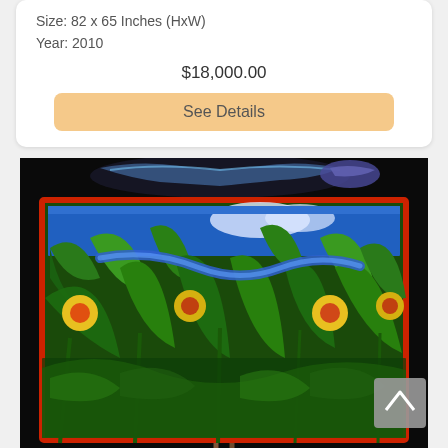Size: 82 x 65 Inches (HxW)
Year: 2010
$18,000.00
See Details
[Figure (photo): Colorful detailed artwork/painting depicting a lush tropical scene with snakes, birds, and vibrant foliage on a dark background. The artwork is displayed on an easel. A decorative lizard or dragon appears at the top outside the frame.]